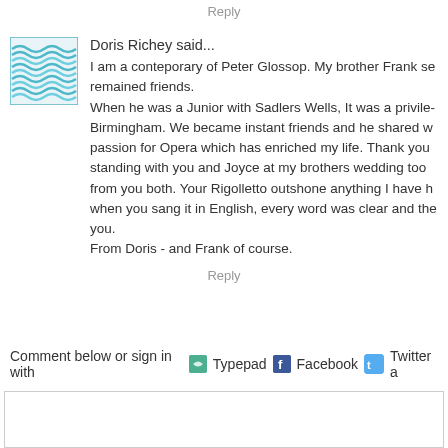Reply
Doris Richey said...
I am a conteporary of Peter Glossop. My brother Frank se remained friends.
When he was a Junior with Sadlers Wells, It was a privilege Birmingham. We became instant friends and he shared w passion for Opera which has enriched my life. Thank you standing with you and Joyce at my brothers wedding too from you both. Your Rigolletto outshone anything I have h when you sang it in English, every word was clear and the you.
From Doris - and Frank of course.
Reply
Comment below or sign in with Typepad Facebook Twitter a